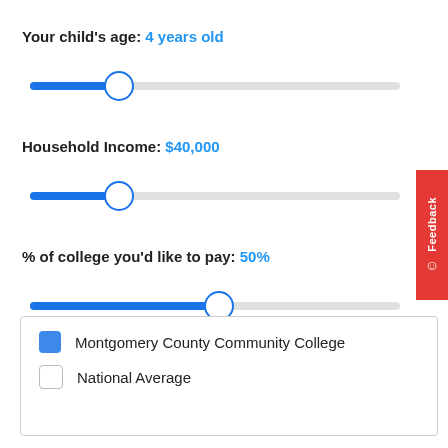Your child's age: 4 years old
[Figure (other): Horizontal slider for child's age, set to 4 years old, thumb at approximately 25% from left]
Household Income: $40,000
[Figure (other): Horizontal slider for household income, set to $40,000, thumb at approximately 25% from left]
% of college you'd like to pay: 50%
[Figure (other): Horizontal slider for % of college to pay, set to 50%, thumb at approximately 50% from left]
| Montgomery County Community College |
| National Average |